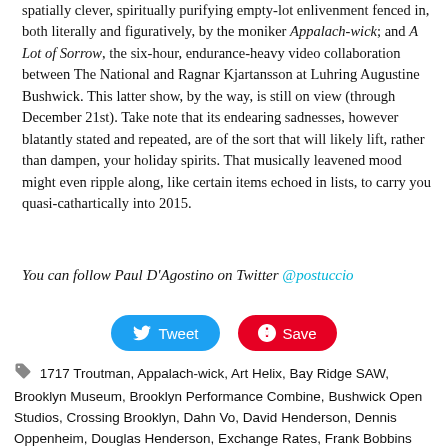spatially clever, spiritually purifying empty-lot enlivenment fenced in, both literally and figuratively, by the moniker Appalach-wick; and A Lot of Sorrow, the six-hour, endurance-heavy video collaboration between The National and Ragnar Kjartansson at Luhring Augustine Bushwick. This latter show, by the way, is still on view (through December 21st). Take note that its endearing sadnesses, however blatantly stated and repeated, are of the sort that will likely lift, rather than dampen, your holiday spirits. That musically leavened mood might even ripple along, like certain items echoed in lists, to carry you quasi-cathartically into 2015.
You can follow Paul D'Agostino on Twitter @postuccio
Tweet
Save
1717 Troutman, Appalach-wick, Art Helix, Bay Ridge SAW, Brooklyn Museum, Brooklyn Performance Combine, Bushwick Open Studios, Crossing Brooklyn, Dahn Vo, David Henderson, Dennis Oppenheim, Douglas Henderson, Exchange Rates, Frank Bobbins Institute, Harbor Gallery, Henry Sanchez, Jason Andrew, Julia K. Gleich, Luhring Augustine Bushwick, Michelle Hernandez, Momenta Art, Multiplicity, Norm Paris, Norte Maar, NurtureArt, Parallel Art Space, Paul Celan, Paul D'Agostino, QWERTY, Ragnar Kjartansson, Studio 10, The National, TSA, Valentine Gallery, Vince Contarino